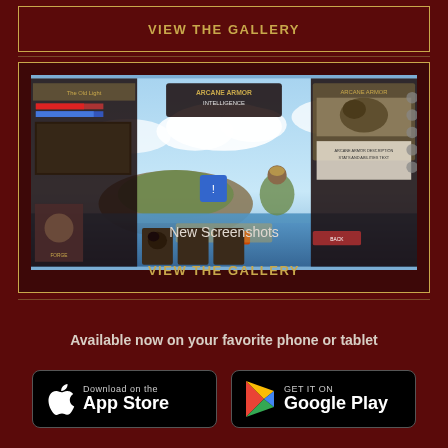VIEW THE GALLERY
[Figure (screenshot): Mobile game screenshot showing a fantasy battle scene with cards, UI elements, a blue ocean/sky background, and a warrior character on the right side.]
New Screenshots
VIEW THE GALLERY
Available now on your favorite phone or tablet
[Figure (logo): Download on the App Store button]
[Figure (logo): Get it on Google Play button]